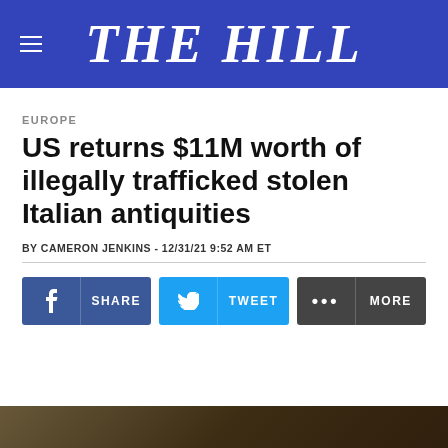THE HILL
EUROPE
US returns $11M worth of illegally trafficked stolen Italian antiquities
BY CAMERON JENKINS - 12/31/21 9:52 AM ET
[Figure (screenshot): Social sharing buttons: Facebook Share, Twitter Tweet, and More options]